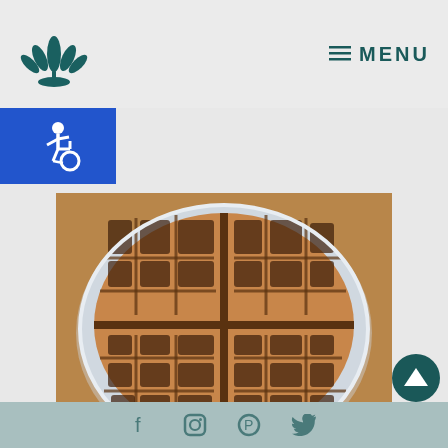MENU
[Figure (logo): Green leaf/plant logo icon]
[Figure (illustration): Accessibility wheelchair icon on blue background]
[Figure (photo): A golden-brown waffle on a white plate, cut into four quarters, photographed from above on a wooden surface]
PRINT
YUMMY ALLERGY FRIENDLY WAFFLE
Social media icons: Facebook, Instagram, Pinterest, Twitter